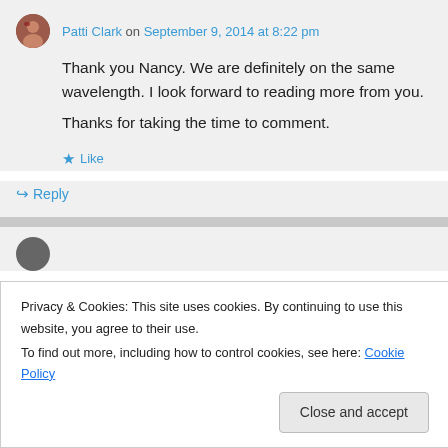Patti Clark on September 9, 2014 at 8:22 pm
Thank you Nancy. We are definitely on the same wavelength. I look forward to reading more from you.
Thanks for taking the time to comment.
Like
Reply
Privacy & Cookies: This site uses cookies. By continuing to use this website, you agree to their use. To find out more, including how to control cookies, see here: Cookie Policy
Close and accept
in particular to overcome their circumstances and